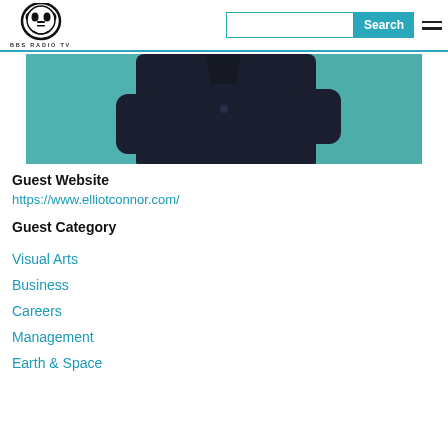BBS RADIO TV — Search bar and navigation
[Figure (photo): A person wearing a dark navy jacket standing against a teal/green wall, photographed from chest down]
Guest Website
https://www.elliotconnor.com/
Guest Category
Visual Arts
Business
Careers
Management
Earth & Space